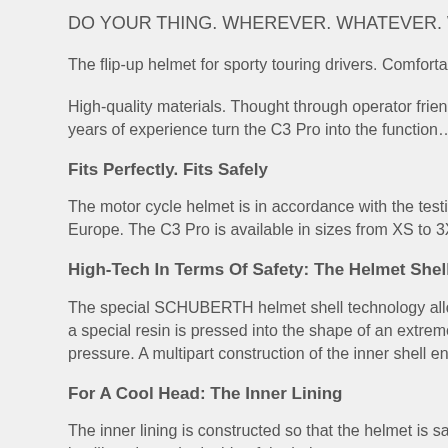DO YOUR THING. WHEREVER. WHATEVER. WHENEVER.
The flip-up helmet for sporty touring drivers. Comfortable and proven.
High-quality materials. Thought through operator friendly functions. knowledge and years of experience turn the C3 Pro into the function...
Fits Perfectly. Fits Safely
The motor cycle helmet is in accordance with the testing standard E... Europe. The C3 Pro is available in sizes from XS to 3XL. This confo...
High-Tech In Terms Of Safety: The Helmet Shell
The special SCHUBERTH helmet shell technology allows low weigh... a special resin is pressed into the shape of an extremely high streng... pressure. A multipart construction of the inner shell enables higher fo...
For A Cool Head: The Inner Lining
The inner lining is constructed so that the helmet is safe and comfor... intelligently on the inside of the helmet to create an optimal climate. with it create additional cooling for the wearer of the helmet. Of cour...